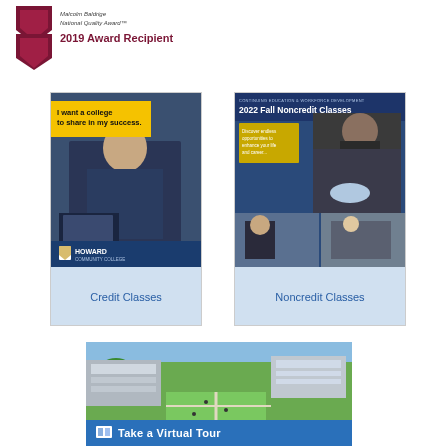[Figure (logo): Malcolm Baldrige National Quality Award logo with chevron/ribbon shape and text '2019 Award Recipient']
[Figure (photo): Howard Community College Credit Classes promotional card showing a student at a computer with yellow banner text 'I want a college to share in my success.' and HCC logo, labeled 'Credit Classes']
[Figure (photo): Howard Community College Noncredit Classes card showing '2022 Fall Noncredit Classes' with a person in a mask working and other activity photos, labeled 'Noncredit Classes']
[Figure (photo): Aerial photo of Howard Community College campus with blue banner 'Take a Virtual Tour']